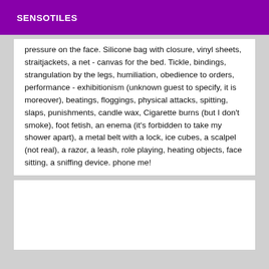SENSOTILES
pressure on the face. Silicone bag with closure, vinyl sheets, straitjackets, a net - canvas for the bed. Tickle, bindings, strangulation by the legs, humiliation, obedience to orders, performance - exhibitionism (unknown guest to specify, it is moreover), beatings, floggings, physical attacks, spitting, slaps, punishments, candle wax, Cigarette burns (but I don't smoke), foot fetish, an enema (it's forbidden to take my shower apart), a metal belt with a lock, ice cubes, a scalpel (not real), a razor, a leash, role playing, heating objects, face sitting, a sniffing device. phone me!